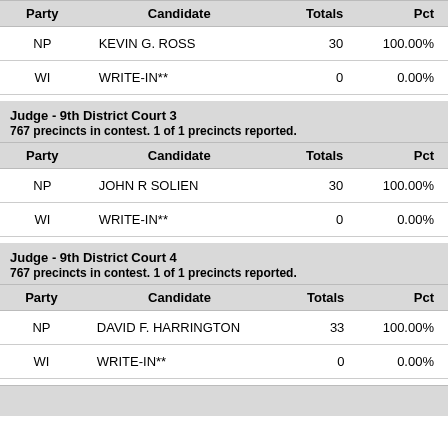| Party | Candidate | Totals | Pct |
| --- | --- | --- | --- |
| NP | KEVIN G. ROSS | 30 | 100.00% |
| WI | WRITE-IN** | 0 | 0.00% |
| Party | Candidate | Totals | Pct |
| --- | --- | --- | --- |
| NP | JOHN R SOLIEN | 30 | 100.00% |
| WI | WRITE-IN** | 0 | 0.00% |
| Party | Candidate | Totals | Pct |
| --- | --- | --- | --- |
| NP | DAVID F. HARRINGTON | 33 | 100.00% |
| WI | WRITE-IN** | 0 | 0.00% |